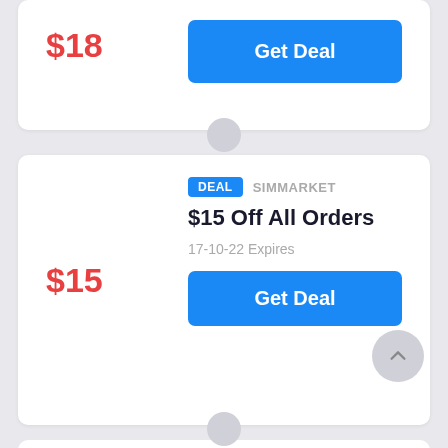$18
Get Deal
DEAL  SIMMARKET
$15 Off All Orders
17-10-22 Expires
$15
Get Deal
DEAL  SIMMARKET
Up To $14 Saving On SimMarket
16-11-22 Expires
$14
Get Deal